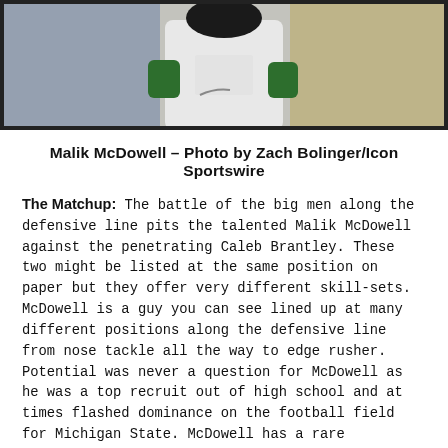[Figure (photo): Football player (Malik McDowell) in uniform with green gloves, shown from waist up, wearing a white jersey, with a crowd in the background.]
Malik McDowell – Photo by Zach Bolinger/Icon Sportswire
The Matchup: The battle of the big men along the defensive line pits the talented Malik McDowell against the penetrating Caleb Brantley. These two might be listed at the same position on paper but they offer very different skill-sets. McDowell is a guy you can see lined up at many different positions along the defensive line from nose tackle all the way to edge rusher. Potential was never a question for McDowell as he was a top recruit out of high school and at times flashed dominance on the football field for Michigan State. McDowell has a rare size/speed combination who penetrates through interior offensive lineman with the capability of beating offensive tackles around the edges. The major concern with McDowell however is, does he have it between the ears? He is a wild boy who can be seen taking himself out of plays and has some